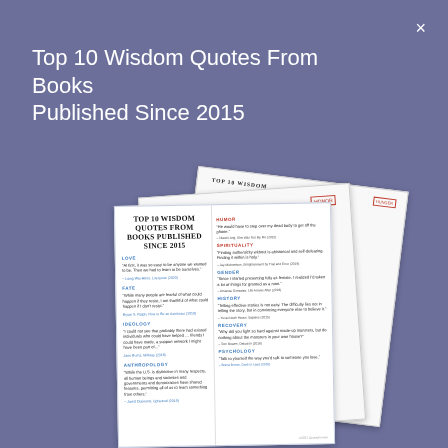×
Top 10 Wisdom Quotes From Books Published Since 2015
[Figure (illustration): Stack of three document/report thumbnails showing 'TOP 10 WISDOM QUOTES FROM BOOKS PUBLISHED SINCE 2015' with multiple quote categories including Humor, Spirituality, Gender, History, Recovery, Psychology. The front page has two columns of text with category labels and quotes.]